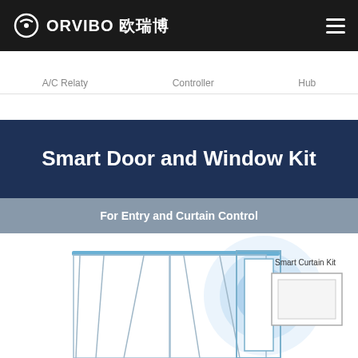ORVIBO 欧瑞博
A/C Relaty   Controller   Hub
Smart Door and Window Kit
For Entry and Curtain Control
[Figure (illustration): Line drawing of a sliding curtain/window with a Smart Curtain Kit label and blue circular highlight graphic on the right side]